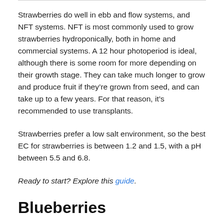Strawberries do well in ebb and flow systems, and NFT systems. NFT is most commonly used to grow strawberries hydroponically, both in home and commercial systems. A 12 hour photoperiod is ideal, although there is some room for more depending on their growth stage. They can take much longer to grow and produce fruit if they're grown from seed, and can take up to a few years. For that reason, it's recommended to use transplants.
Strawberries prefer a low salt environment, so the best EC for strawberries is between 1.2 and 1.5, with a pH between 5.5 and 6.8.
Ready to start? Explore this guide.
Blueberries